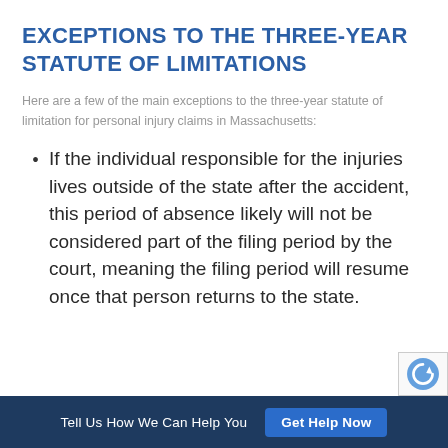EXCEPTIONS TO THE THREE-YEAR STATUTE OF LIMITATIONS
Here are a few of the main exceptions to the three-year statute of limitation for personal injury claims in Massachusetts:
If the individual responsible for the injuries lives outside of the state after the accident, this period of absence likely will not be considered part of the filing period by the court, meaning the filing period will resume once that person returns to the state.
Tell Us How We Can Help You  |  Get Help Now